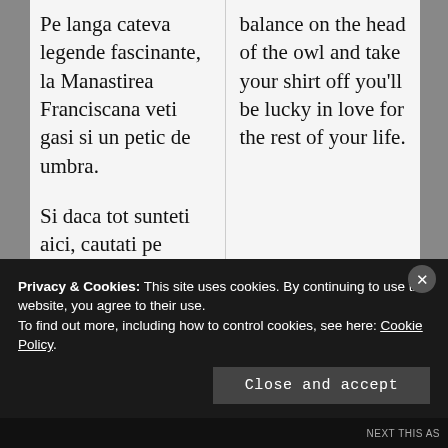Pe langa cateva legende fascinante, la Manastirea Franciscana veti gasi si un petic de umbra.
Si daca tot sunteti aici, cautati pe strada principala, aproape de intrarea in Manastirea Franciscana un chip
balance on the head of the owl and take your shirt off you'll be lucky in love for the rest of your life.
Privacy & Cookies: This site uses cookies. By continuing to use this website, you agree to their use.
To find out more, including how to control cookies, see here: Cookie Policy
Close and accept